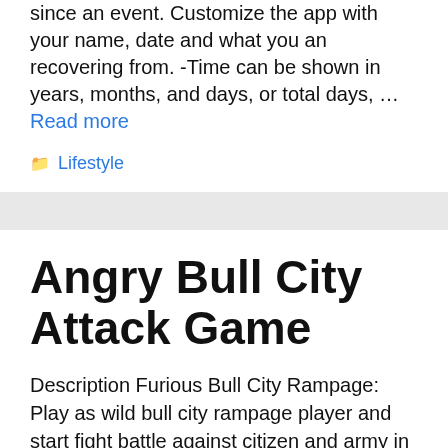since an event. Customize the app with your name, date and what you an recovering from. -Time can be shown in years, months, and days, or total days, … Read more
Lifestyle
Angry Bull City Attack Game
Description Furious Bull City Rampage: Play as wild bull city rampage player and start fight battle against citizen and army in city destruction games. Angry bull is on the loose